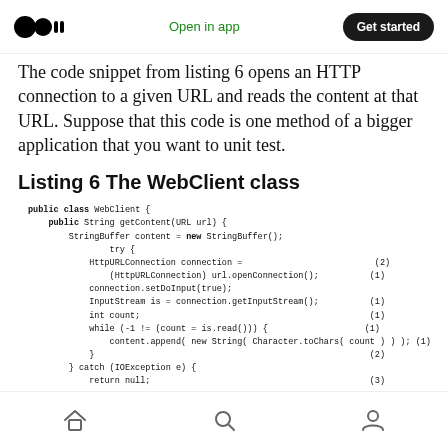Open in app  Get started
The code snippet from listing 6 opens an HTTP connection to a given URL and reads the content at that URL. Suppose that this code is one method of a bigger application that you want to unit test.
Listing 6 The WebClient class
[Figure (screenshot): Java code listing showing the WebClient class with getContent(URL url) method, StringBuffer, HttpURLConnection, InputStream, while loop reading bytes and catch block for IOException]
Home  Search  Profile